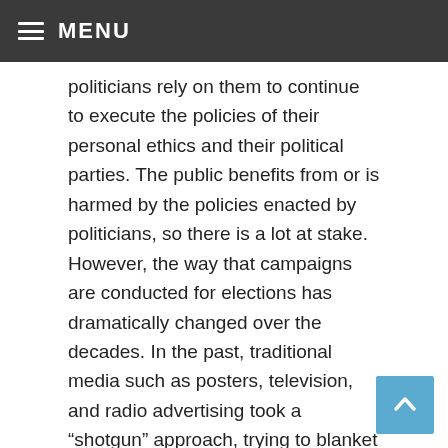MENU
politicians rely on them to continue to execute the policies of their personal ethics and their political parties. The public benefits from or is harmed by the policies enacted by politicians, so there is a lot at stake. However, the way that campaigns are conducted for elections has dramatically changed over the decades. In the past, traditional media such as posters, television, and radio advertising took a “shotgun” approach, trying to blanket as many people as possible with a message in the hopes that it would resonate with some.
While these traditional strategies can still work, they are now supplemented by more precise campaign targeting. Voter lists no longer have to consist of only the most general information, such as a person’s name, working, and residential mailing address. Modern databases can